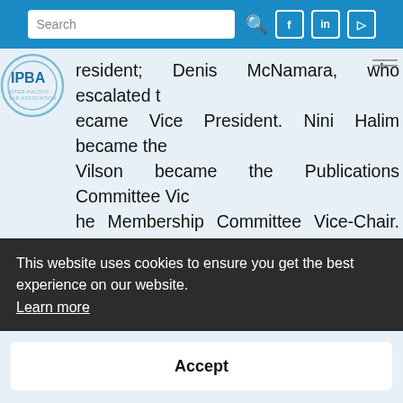Search [search icon] [facebook icon] [linkedin icon] [youtube icon]
[Figure (logo): IPBA Inter-Pacific Bar Association circular logo, teal/blue color]
resident; Denis McNamara, who escalated t[o] [became] Vice President. Nini Halim became the [Secretary.] [W]ilson became the Publications Committee Vic[e-Chair.] [T]he Membership Committee Vice-Chair. Two n[ew positions,] [W]ebmaster and Deputy Webmaster, respectiv[ely, were filled.] [S]impson. Several new JCMs and a new Regio[nal Coordinator.] [W]ebmaster changed from an At-Large Council [Member to a] [c]ouncil member terms were extended; and t[he] [a]mong the Committee Chairs and Vice-Chairs. [More] [information on the IPBA ] web site, and t[he]
This website uses cookies to ensure you get the best experience on our website. Learn more
Accept
n this issue of Eye on IPBA, we start a new se[ries.] [C]o-Chair of the International Trade Committee